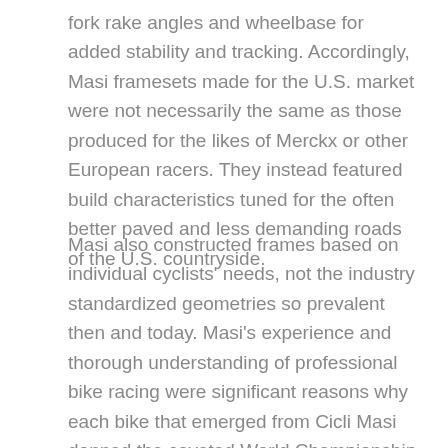fork rake angles and wheelbase for added stability and tracking. Accordingly, Masi framesets made for the U.S. market were not necessarily the same as those produced for the likes of Merckx or other European racers. They instead featured build characteristics tuned for the often better paved and less demanding roads of the U.S. countryside.
Masi also constructed frames based on individual cyclists' needs, not the industry standardized geometries so prevalent then and today. Masi's experience and thorough understanding of professional bike racing were significant reasons why each bike that emerged from Cicli Masi donned the coveted World Championship stripes.